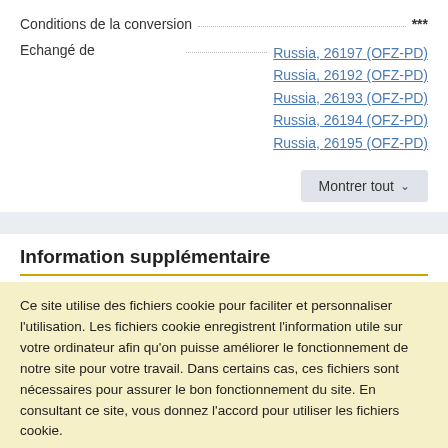Conditions de la conversion ***
Echangé de — Russia, 26197 (OFZ-PD) / Russia, 26192 (OFZ-PD) / Russia, 26193 (OFZ-PD) / Russia, 26194 (OFZ-PD) / Russia, 26195 (OFZ-PD)
Montrer tout
Information supplémentaire
Ce site utilise des fichiers cookie pour faciliter et personnaliser l'utilisation. Les fichiers cookie enregistrent l'information utile sur votre ordinateur afin qu'on puisse améliorer le fonctionnement de notre site pour votre travail. Dans certains cas, ces fichiers sont nécessaires pour assurer le bon fonctionnement du site. En consultant ce site, vous donnez l'accord pour utiliser les fichiers cookie.
Ok